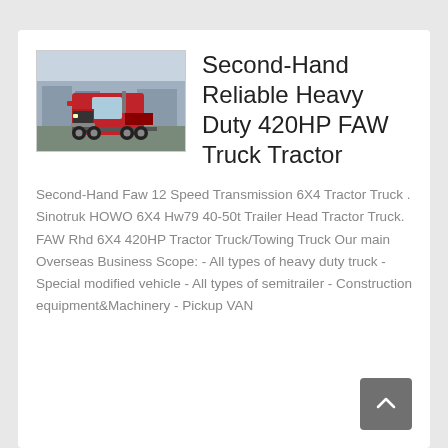[Figure (photo): Photo of a red FAW heavy duty truck tractor in a yard with buildings in the background]
Second-Hand Reliable Heavy Duty 420HP FAW Truck Tractor
Second-Hand Faw 12 Speed Transmission 6X4 Tractor Truck . Sinotruk HOWO 6X4 Hw79 40-50t Trailer Head Tractor Truck. FAW Rhd 6X4 420HP Tractor Truck/Towing Truck Our main Overseas Business Scope: - All types of heavy duty truck - Special modified vehicle - All types of semitrailer - Construction equipment&Machinery - Pickup VAN